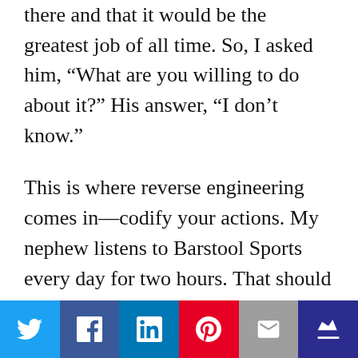there and that it would be the greatest job of all time. So, I asked him, “What are you willing to do about it?” His answer, “I don’t know.”
This is where reverse engineering comes in—codify your actions. My nephew listens to Barstool Sports every day for two hours. That should tell him it’s something he deeply cares about and believes in, so he should do something about it.